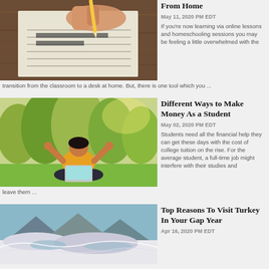[Figure (photo): Child's hand writing on lined paper with pencil]
From Home
May 11, 2020 PM EDT
If you're now learning via online lessons and homeschooling sessions you may be feeling a little overwhelmed with the transition from the classroom to a desk at home. But, there is one tool which you ...
[Figure (photo): Person in yellow shirt sitting cross-legged on grass with laptop, arms raised in celebration]
Different Ways to Make Money As a Student
May 02, 2020 PM EDT
Students need all the financial help they can get these days with the cost of college tuition on the rise. For the average student, a full-time job might interfere with their studies and leave them ...
[Figure (photo): Scenic view of terraced white mineral formations with water and mountains]
Top Reasons To Visit Turkey In Your Gap Year
Apr 16, 2020 PM EDT